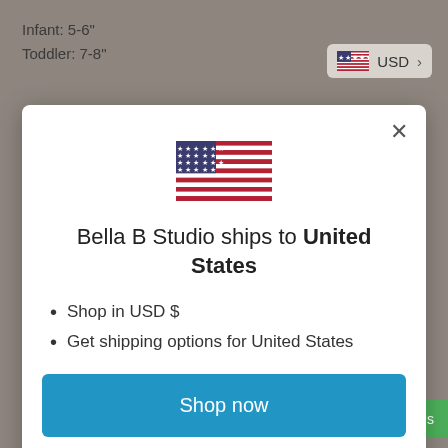Infant: 5-6"
Toddler: 7-8"
[Figure (screenshot): USD currency selector button with US flag icon in top right corner of page]
[Figure (illustration): US flag SVG inside modal dialog]
Bella B Studio ships to United States
Shop in USD $
Get shipping options for United States
Shop now
Change shipping country
Otherwise, Bella B Studio will not be responsible for any lost or damaged packages.